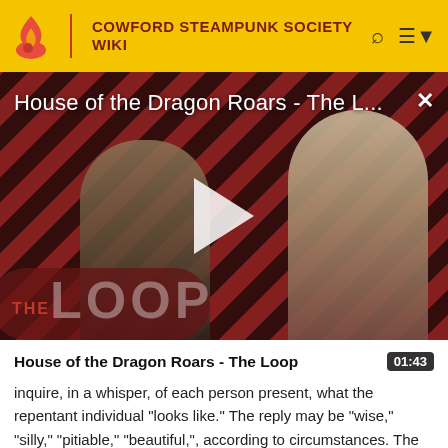COWFORD STEAMPUNK SOCIETY WIKI
[Figure (screenshot): Video thumbnail for 'House of the Dragon Roars - The L...' showing two characters against a diagonal red and dark stripe background with THE LOOP logo overlay and a play button in the center.]
House of the Dragon Roars - The Loop   01:43
inquire, in a whisper, of each person present, what the repentant individual "looks like." The reply may be "wise," "silly," "pitiable," "beautiful," according to circumstances. The answers are repeated openly to the forfeiter, with the